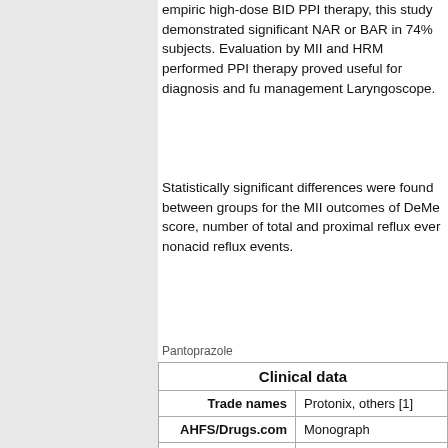empiric high-dose BID PPI therapy, this study demonstrated significant NAR or BAR in 74% subjects. Evaluation by MII and HRM performed PPI therapy proved useful for diagnosis and fu management Laryngoscope.
Statistically significant differences were found between groups for the MII outcomes of DeMe score, number of total and proximal reflux ever nonacid reflux events.
Pantoprazole
| Clinical data |  |
| --- | --- |
| Trade names | Protonix, others [1] |
| AHFS/Drugs.com | Monograph |
| MedlinePlus | a601246 |
| License data | EU  EMA:  by INN, US A: Pantoprazole |